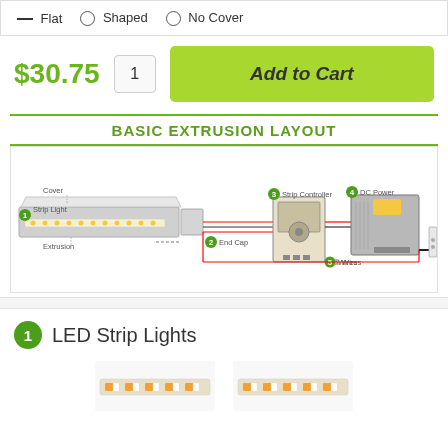— Flat  ○ Shaped  ○ No Cover
$30.75  1  Add to Cart
BASIC EXTRUSION LAYOUT
[Figure (schematic): Basic extrusion layout diagram showing: Cover, Strip Light (1), Extrusion, End Cap (2), Strip Controller (3), DC Power (4), Wires (5), and a wall outlet. Components connected with red/black wires.]
1 LED Strip Lights
[Figure (photo): Two partial photos of LED strip lights at bottom of page]